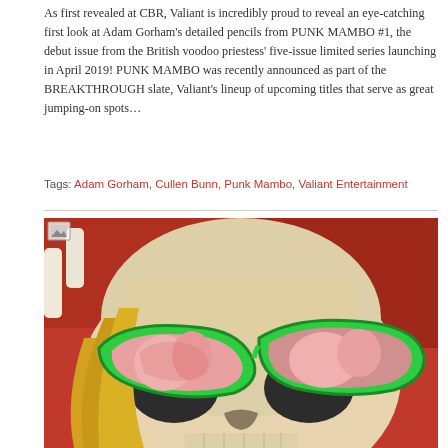As first revealed at CBR, Valiant is incredibly proud to reveal an eye-catching first look at Adam Gorham's detailed pencils from PUNK MAMBO #1, the debut issue from the British voodoo priestess' five-issue limited series launching in April 2019! PUNK MAMBO was recently announced as part of the BREAKTHROUGH slate, Valiant's lineup of upcoming titles that serve as great jumping-on spots…
Tags: Adam Gorham, Cullen Bunn, Punk Mambo, Valiant Entertainment
[Figure (illustration): Comic book art showing a close-up of a skull wearing large green cat-eye sunglasses. The lenses reflect colorful comic scenes with figures. The skull has long blonde hair visible at the bottom. Red background with decorative elements.]